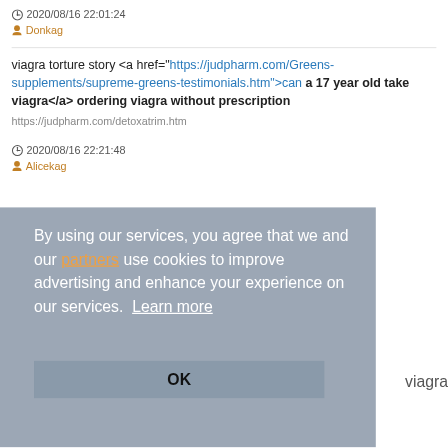2020/08/16 22:01:24
Donkag
viagra torture story <a href="https://judpharm.com/Greens-supplements/supreme-greens-testimonials.htm">can a 17 year old take viagra</a> ordering viagra without prescription https://judpharm.com/detoxatrim.htm
2020/08/16 22:21:48
Alicekag
By using our services, you agree that we and our partners use cookies to improve advertising and enhance your experience on our services. Learn more
OK